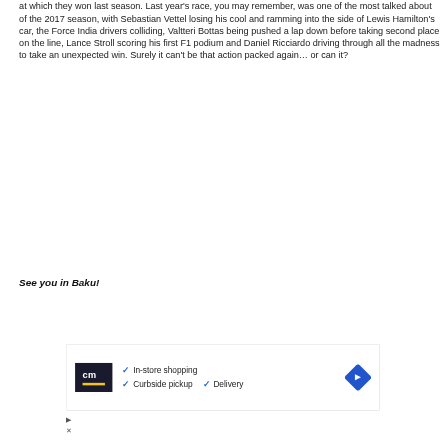at which they won last season. Last year's race, you may remember, was one of the most talked about of the 2017 season, with Sebastian Vettel losing his cool and ramming into the side of Lewis Hamilton's car, the Force India drivers colliding, Valtteri Bottas being pushed a lap down before taking second place on the line, Lance Stroll scoring his first F1 podium and Daniel Ricciardo driving through all the madness to take an unexpected win. Surely it can't be that action packed again… or can it?
See you in Baku!
[Figure (infographic): Advertisement banner showing a logo with 'cm' text, checkmarks listing 'In-store shopping', 'Curbside pickup', 'Delivery', and a blue diamond arrow icon on the right.]